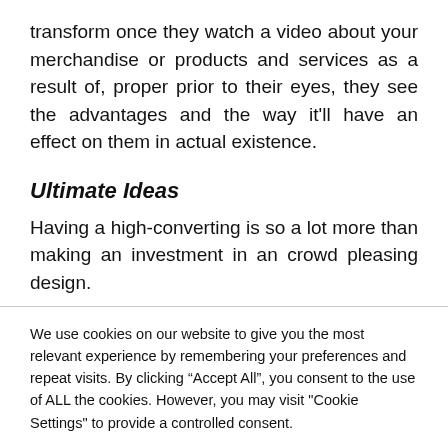transform once they watch a video about your merchandise or products and services as a result of, proper prior to their eyes, they see the advantages and the way it'll have an effect on them in actual existence.
Ultimate Ideas
Having a high-converting is so a lot more than making an investment in an crowd pleasing design.
We use cookies on our website to give you the most relevant experience by remembering your preferences and repeat visits. By clicking “Accept All”, you consent to the use of ALL the cookies. However, you may visit "Cookie Settings" to provide a controlled consent.
Cookie Settings | Accept All